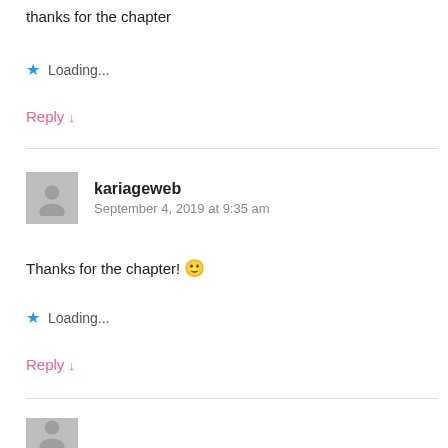thanks for the chapter
★ Loading...
Reply ↓
kariageweb
September 4, 2019 at 9:35 am
Thanks for the chapter! 🙂
★ Loading...
Reply ↓